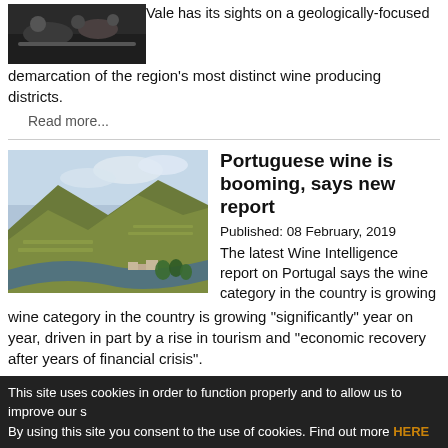[Figure (photo): People seated at tables in a dark indoor event, viewed from above]
Vale has its sights on a geologically-focused demarcation of the region's most distinct wine producing districts.
Read more...
[Figure (photo): Aerial view of a river winding through terraced vineyard hillsides in Portugal]
Portuguese wine is booming, says new report
Published:  08 February, 2019
The latest Wine Intelligence report on Portugal says the wine category in the country is growing “significantly” year on year, driven in part by a rise in tourism and “economic recovery after years of financial crisis”.
Read more...
This site uses cookies in order to function properly and to allow us to improve our s By using this site you consent to the use of cookies. Find out more HERE